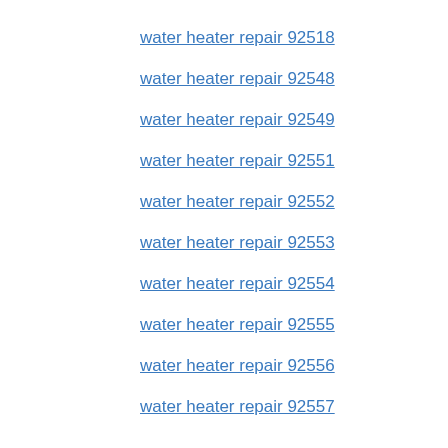water heater repair 92518
water heater repair 92548
water heater repair 92549
water heater repair 92551
water heater repair 92552
water heater repair 92553
water heater repair 92554
water heater repair 92555
water heater repair 92556
water heater repair 92557